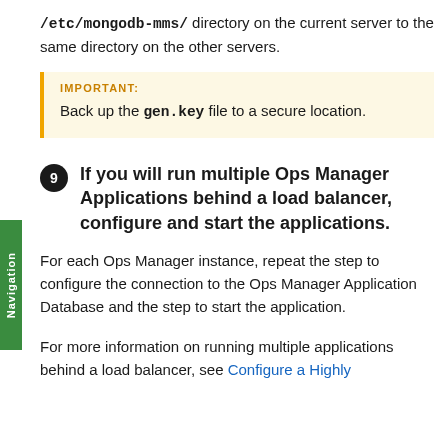/etc/mongodb-mms/ directory on the current server to the same directory on the other servers.
IMPORTANT:
Back up the gen.key file to a secure location.
9 If you will run multiple Ops Manager Applications behind a load balancer, configure and start the applications.
For each Ops Manager instance, repeat the step to configure the connection to the Ops Manager Application Database and the step to start the application.
For more information on running multiple applications behind a load balancer, see Configure a Highly